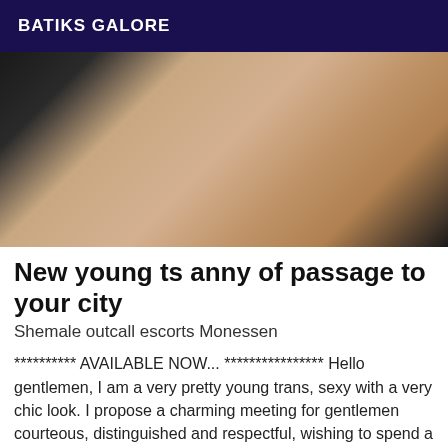BATIKS GALORE
[Figure (photo): Photo of a person in black lace lingerie posed on a white surface, cropped view showing torso and legs]
New young ts anny of passage to your city
Shemale outcall escorts Monessen
********** AVAILABLE NOW... **************** Hello gentlemen, I am a very pretty young trans, sexy with a very chic look. I propose a charming meeting for gentlemen courteous, distinguished and respectful, wishing to spend a delicious moment of escape in the company of a pretty and sweet trans. Very feminine, I